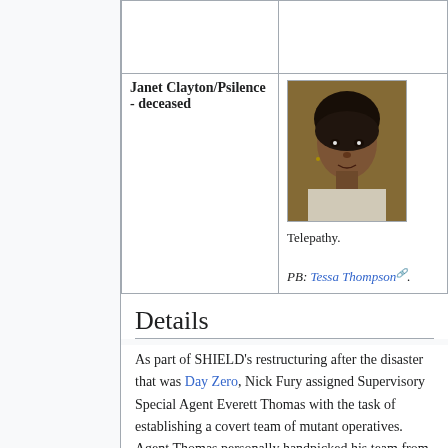| Character | Info |
| --- | --- |
| Janet Clayton/Psilence - deceased | Telepathy.
PB: Tessa Thompson. |
Details
As part of SHIELD's restructuring after the disaster that was Day Zero, Nick Fury assigned Supervisory Special Agent Everett Thomas with the task of establishing a covert team of mutant operatives. Agent Thomas personally handpicked his team from the pool of